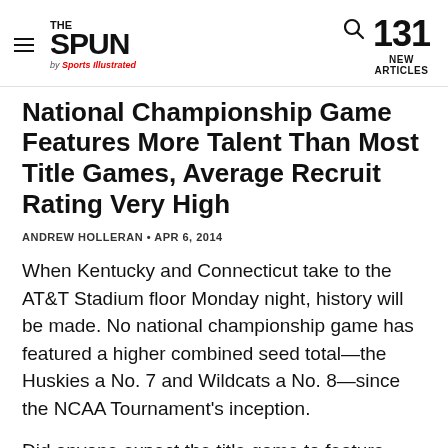THE SPUN by Sports Illustrated | 131 NEW ARTICLES
National Championship Game Features More Talent Than Most Title Games, Average Recruit Rating Very High
ANDREW HOLLERAN • APR 6, 2014
When Kentucky and Connecticut take to the AT&T Stadium floor Monday night, history will be made. No national championship game has featured a higher combined seed total—the Huskies a No. 7 and Wildcats a No. 8—since the NCAA Tournament's inception.
Did anyone expect the title game to feature